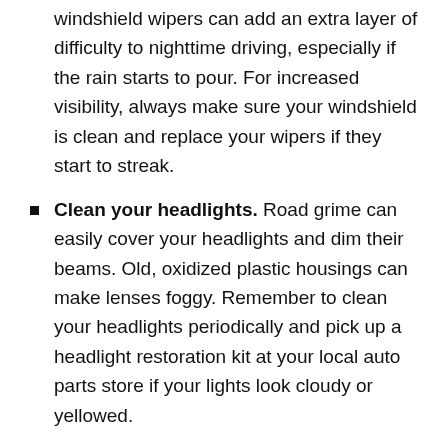windshield wipers can add an extra layer of difficulty to nighttime driving, especially if the rain starts to pour. For increased visibility, always make sure your windshield is clean and replace your wipers if they start to streak.
Clean your headlights. Road grime can easily cover your headlights and dim their beams. Old, oxidized plastic housings can make lenses foggy. Remember to clean your headlights periodically and pick up a headlight restoration kit at your local auto parts store if your lights look cloudy or yellowed.
Dim your dashboard. Bright infotainment screens and dashboards aren't just distracting – they can also make it difficult for your eyes to adjust to low light. Use the dimmer switch in your vehicle to turn